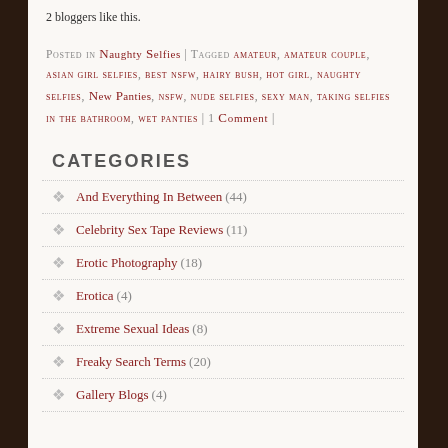2 bloggers like this.
Posted in Naughty Selfies | Tagged amateur, amateur couple, asian girl selfies, best nsfw, hairy bush, hot girl, naughty selfies, New Panties, nsfw, nude selfies, sexy man, taking selfies in the bathroom, wet panties | 1 Comment |
CATEGORIES
And Everything In Between (44)
Celebrity Sex Tape Reviews (11)
Erotic Photography (18)
Erotica (4)
Extreme Sexual Ideas (8)
Freaky Search Terms (20)
Gallery Blogs (4)